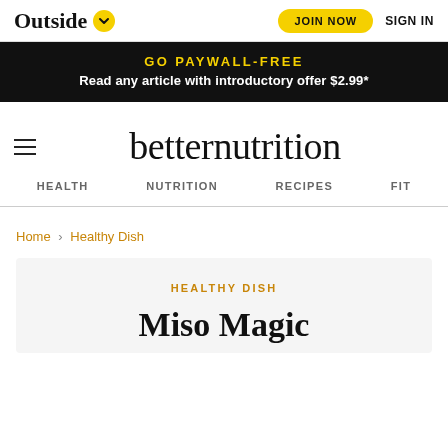Outside | JOIN NOW | SIGN IN
GO PAYWALL-FREE
Read any article with introductory offer $2.99*
betternutrition
HEALTH   NUTRITION   RECIPES   FIT
Home > Healthy Dish
HEALTHY DISH
Miso Magic